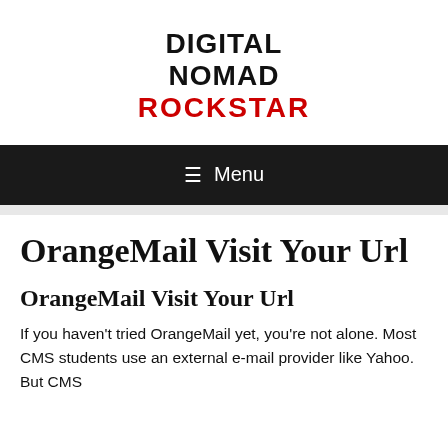DIGITAL NOMAD ROCKSTAR
Menu
OrangeMail Visit Your Url
OrangeMail Visit Your Url
If you haven't tried OrangeMail yet, you're not alone. Most CMS students use an external e-mail provider like Yahoo. But CMS